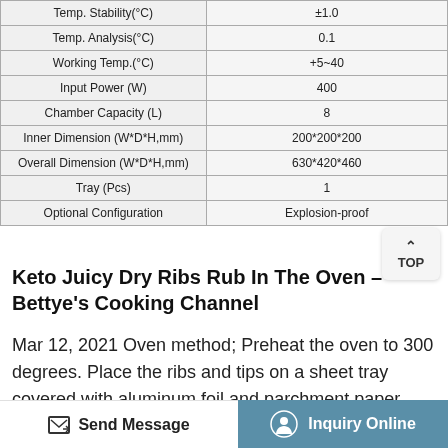| Parameter | Value |
| --- | --- |
| Temp. Stability(°C) | ±1.0 |
| Temp. Analysis(°C) | 0.1 |
| Working Temp.(°C) | +5~40 |
| Input Power (W) | 400 |
| Chamber Capacity (L) | 8 |
| Inner Dimension (W*D*H,mm) | 200*200*200 |
| Overall Dimension (W*D*H,mm) | 630*420*460 |
| Tray (Pcs) | 1 |
| Optional Configuration | Explosion-proof |
Keto Juicy Dry Ribs Rub In The Oven – Bettye's Cooking Channel
Mar 12, 2021 Oven method; Preheat the oven to 300 degrees. Place the ribs and tips on a sheet tray covered with aluminum foil and parchment paper. Sprinkle some avocado oil on the top of the ribs